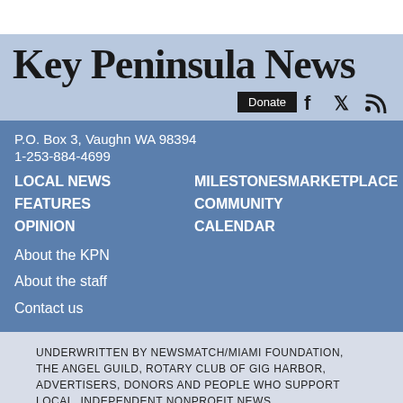Key Peninsula News
[Figure (infographic): Donate button, Facebook icon, Twitter icon, RSS feed icon]
P.O. Box 3, Vaughn WA 98394
1-253-884-4699
LOCAL NEWS
MILESTONES MARKETPLACE
FEATURES
COMMUNITY
OPINION
CALENDAR
About the KPN
About the staff
Contact us
UNDERWRITTEN BY NEWSMATCH/MIAMI FOUNDATION, THE ANGEL GUILD, ROTARY CLUB OF GIG HARBOR, ADVERTISERS, DONORS AND PEOPLE WHO SUPPORT LOCAL, INDEPENDENT NONPROFIT NEWS